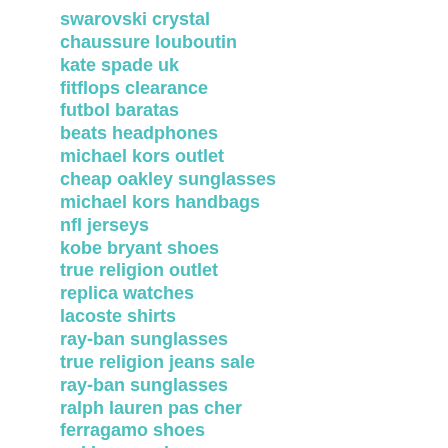swarovski crystal
chaussure louboutin
kate spade uk
fitflops clearance
futbol baratas
beats headphones
michael kors outlet
cheap oakley sunglasses
michael kors handbags
nfl jerseys
kobe bryant shoes
true religion outlet
replica watches
lacoste shirts
ray-ban sunglasses
true religion jeans sale
ray-ban sunglasses
ralph lauren pas cher
ferragamo shoes
oakley sunglasses
burberry outlet online
louis vuitton outlet